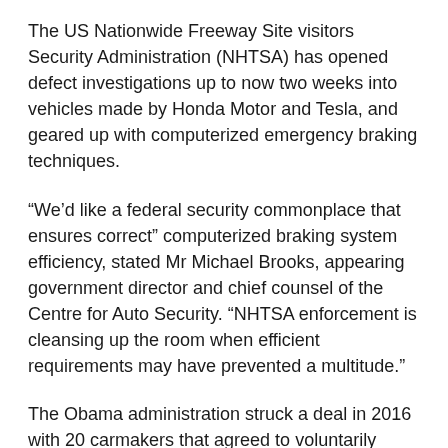The US Nationwide Freeway Site visitors Security Administration (NHTSA) has opened defect investigations up to now two weeks into vehicles made by Honda Motor and Tesla, and geared up with computerized emergency braking techniques.
“We’d like a federal security commonplace that ensures correct” computerized braking system efficiency, stated Mr Michael Brooks, appearing government director and chief counsel of the Centre for Auto Security. “NHTSA enforcement is cleansing up the room when efficient requirements may have prevented a multitude.”
The Obama administration struck a deal in 2016 with 20 carmakers that agreed to voluntarily equip at the very least 95 per cent of their passenger autos with computerized emergency braking by September this 12 months.